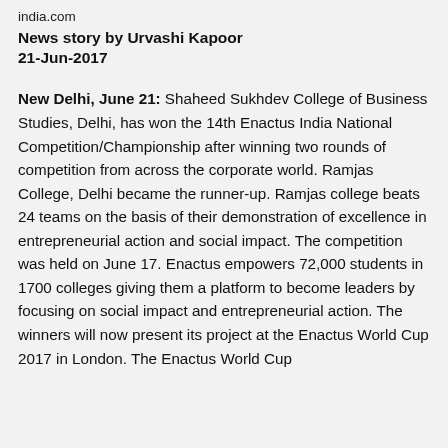india.com
News story by Urvashi Kapoor
21-Jun-2017
New Delhi, June 21: Shaheed Sukhdev College of Business Studies, Delhi, has won the 14th Enactus India National Competition/Championship after winning two rounds of competition from across the corporate world. Ramjas College, Delhi became the runner-up. Ramjas college beats 24 teams on the basis of their demonstration of excellence in entrepreneurial action and social impact. The competition was held on June 17. Enactus empowers 72,000 students in 1700 colleges giving them a platform to become leaders by focusing on social impact and entrepreneurial action. The winners will now present its project at the Enactus World Cup 2017 in London. The Enactus World Cup...